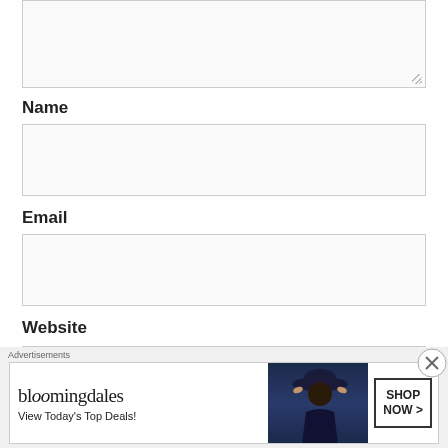[Figure (screenshot): Textarea input box (top of page, partially visible)]
Name
[Figure (screenshot): Name input field box]
Email
[Figure (screenshot): Email input field box]
Website
[Figure (screenshot): Website input field box (partially visible at bottom)]
Advertisements
[Figure (screenshot): Bloomingdale's advertisement banner: 'View Today's Top Deals! SHOP NOW >']